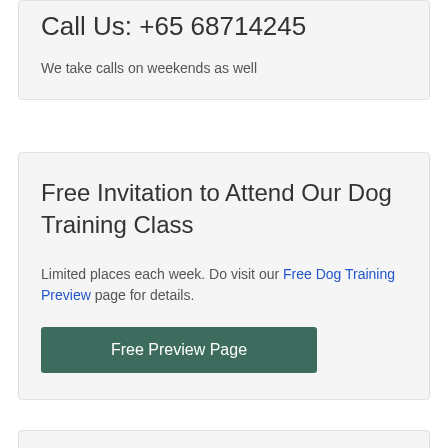Call Us: +65 68714245
We take calls on weekends as well
Free Invitation to Attend Our Dog Training Class
Limited places each week. Do visit our Free Dog Training Preview page for details.
Free Preview Page